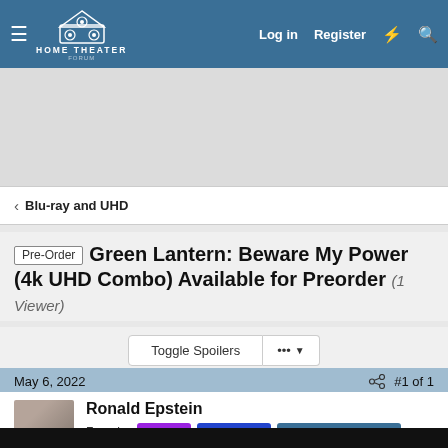HOME THEATER FORUM — Log in  Register
[Figure (logo): Home Theater Forum logo with house/speaker icon]
< Blu-ray and UHD
[Pre-Order] Green Lantern: Beware My Power (4k UHD Combo) Available for Preorder (1 Viewer)
Toggle Spoilers  ••• ▼
May 6, 2022   #1 of 1
Ronald Epstein
Founder  Owner  Moderator  Senior HTF Member